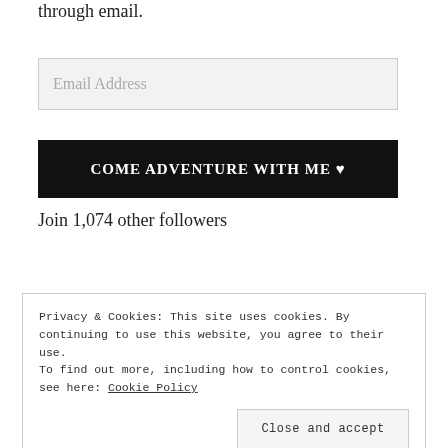through email.
Email Address
COME ADVENTURE WITH ME ♥
Join 1,074 other followers
Privacy & Cookies: This site uses cookies. By continuing to use this website, you agree to their use.
To find out more, including how to control cookies, see here: Cookie Policy
Close and accept